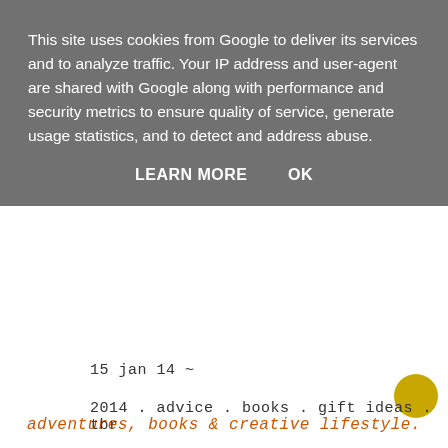This site uses cookies from Google to deliver its services and to analyze traffic. Your IP address and user-agent are shared with Google along with performance and security metrics to ensure quality of service, generate usage statistics, and to detect and address abuse.
LEARN MORE   OK
adventures, books & creative lifestyle.
15 jan 14 ~
2014 . advice . books . gift ideas . tbr